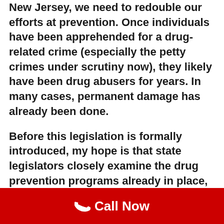New Jersey, we need to redouble our efforts at prevention. Once individuals have been apprehended for a drug-related crime (especially the petty crimes under scrutiny now), they likely have been drug abusers for years. In many cases, permanent damage has already been done.
Before this legislation is formally introduced, my hope is that state legislators closely examine the drug prevention programs already in place, analyze what other states are doing in the area of prevention, and develop a two-pronged solution.
[Figure (other): Red call-to-action footer bar with phone icon and 'Call Now' text in white on red background]